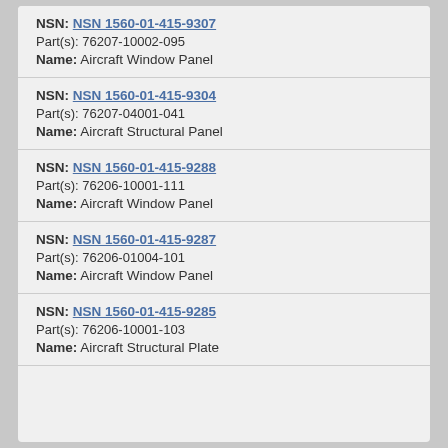NSN: NSN 1560-01-415-9307
Part(s): 76207-10002-095
Name: Aircraft Window Panel
NSN: NSN 1560-01-415-9304
Part(s): 76207-04001-041
Name: Aircraft Structural Panel
NSN: NSN 1560-01-415-9288
Part(s): 76206-10001-111
Name: Aircraft Window Panel
NSN: NSN 1560-01-415-9287
Part(s): 76206-01004-101
Name: Aircraft Window Panel
NSN: NSN 1560-01-415-9285
Part(s): 76206-10001-103
Name: Aircraft Structural Plate